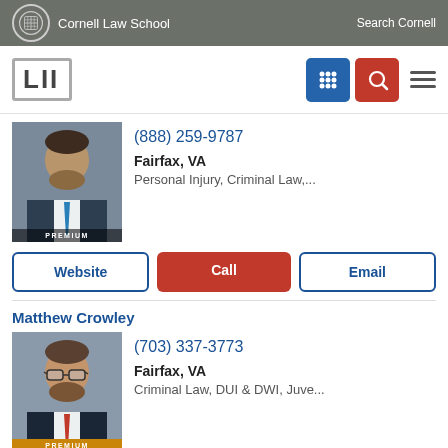Cornell Law School | Search Cornell
[Figure (logo): LII Legal Information Institute logo with navigation icons]
[Figure (photo): Premium lawyer profile photo, male with beard in suit]
(888) 259-9787
Fairfax, VA
Personal Injury, Criminal Law,...
Website | Call | Email
Matthew Crowley
[Figure (photo): Premium lawyer profile photo of Matthew Crowley, male with glasses and beard in suit]
(703) 337-3773
Fairfax, VA
Criminal Law, DUI & DWI, Juve...
Website | Call | Email